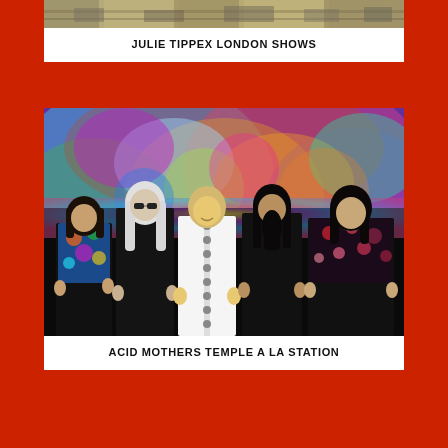[Figure (photo): Partial top image strip showing what appears to be a street or event scene, cropped at the top of the page]
JULIE TIPPEX LONDON SHOWS
[Figure (photo): Band photo of Acid Mothers Temple — five members standing in front of a colorful psychedelic background. Members have long hair and wear dark and patterned clothing.]
ACID MOTHERS TEMPLE A LA STATION